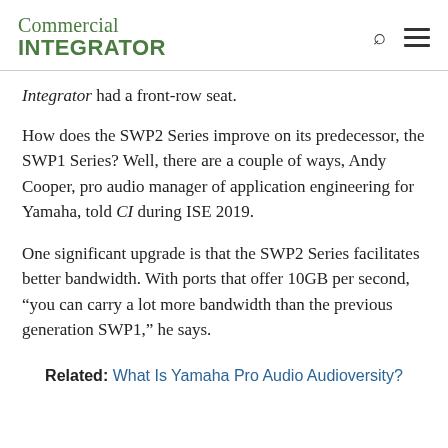Commercial INTEGRATOR
Integrator had a front-row seat.
How does the SWP2 Series improve on its predecessor, the SWP1 Series? Well, there are a couple of ways, Andy Cooper, pro audio manager of application engineering for Yamaha, told CI during ISE 2019.
One significant upgrade is that the SWP2 Series facilitates better bandwidth. With ports that offer 10GB per second, “you can carry a lot more bandwidth than the previous generation SWP1,” he says.
Related: What Is Yamaha Pro Audio Audioversity?